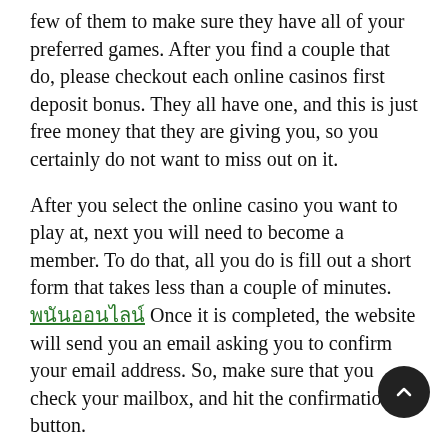few of them to make sure they have all of your preferred games. After you find a couple that do, please checkout each online casinos first deposit bonus. They all have one, and this is just free money that they are giving you, so you certainly do not want to miss out on it.
After you select the online casino you want to play at, next you will need to become a member. To do that, all you do is fill out a short form that takes less than a couple of minutes. [link] Once it is completed, the website will send you an email asking you to confirm your email address. So, make sure that you check your mailbox, and hit the confirmation button.
Now you are all set to start playing all of their free games, but if you want to play for real money, you are going to need to fund your account. Each and every